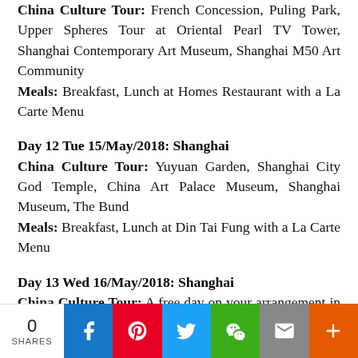China Culture Tour: French Concession, Puling Park, Upper Spheres Tour at Oriental Pearl TV Tower, Shanghai Contemporary Art Museum, Shanghai M50 Art Community
Meals: Breakfast, Lunch at Homes Restaurant with a La Carte Menu
Day 12 Tue 15/May/2018: Shanghai
China Culture Tour: Yuyuan Garden, Shanghai City God Temple, China Art Palace Museum, Shanghai Museum, The Bund
Meals: Breakfast, Lunch at Din Tai Fung with a La Carte Menu
Day 13 Wed 16/May/2018: Shanghai
China Culture Tour: A free day on your arrangement in Shanghai
Meals: Breakfast
0 SHARES